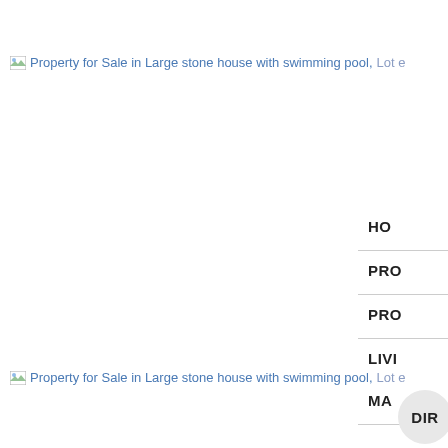[Figure (screenshot): Broken image placeholder with link text: Property for Sale in Large stone house with swimming pool, Lot e]
HO
PRO
PRO
LIVI
[Figure (screenshot): Broken image placeholder with link text: Property for Sale in Large stone house with swimming pool, Lot e]
MA
DIR